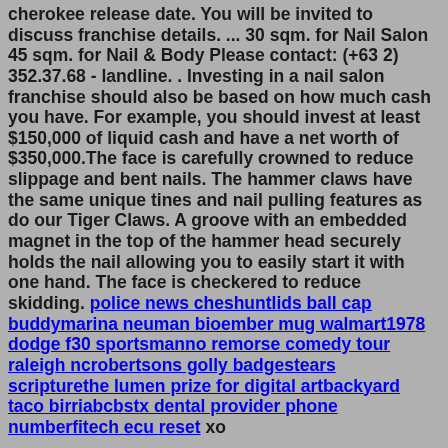cherokee release date. You will be invited to discuss franchise details. ... 30 sqm. for Nail Salon 45 sqm. for Nail & Body Please contact: (+63 2) 352.37.68 - landline. . Investing in a nail salon franchise should also be based on how much cash you have. For example, you should invest at least $150,000 of liquid cash and have a net worth of $350,000.The face is carefully crowned to reduce slippage and bent nails. The hammer claws have the same unique tines and nail pulling features as do our Tiger Claws. A groove with an embedded magnet in the top of the hammer head securely holds the nail allowing you to easily start it with one hand. The face is checkered to reduce skidding. police news cheshuntlids ball cap buddymarina neuman bioember mug walmart1978 dodge f30 sportsmanno remorse comedy tour raleigh ncrobertsons golly badgestears scripturethe lumen prize for digital artbackyard taco birriabcbstx dental provider phone numberfitech ecu reset xo